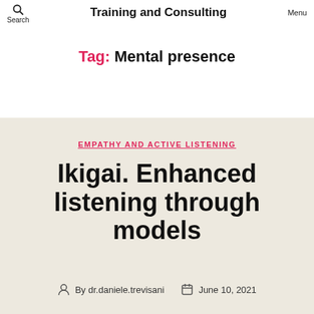Search | Training and Consulting | Menu
Tag: Mental presence
EMPATHY AND ACTIVE LISTENING
Ikigai. Enhanced listening through models
By dr.daniele.trevisani   June 10, 2021